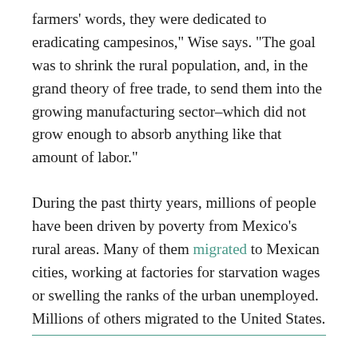farmers' words, they were dedicated to eradicating campesinos," Wise says. "The goal was to shrink the rural population, and, in the grand theory of free trade, to send them into the growing manufacturing sector–which did not grow enough to absorb anything like that amount of labor."
During the past thirty years, millions of people have been driven by poverty from Mexico's rural areas. Many of them migrated to Mexican cities, working at factories for starvation wages or swelling the ranks of the urban unemployed. Millions of others migrated to the United States.